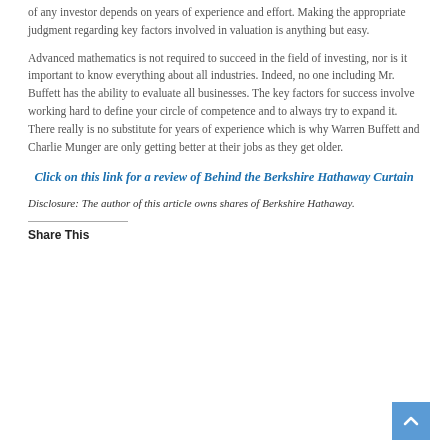of any investor depends on years of experience and effort. Making the appropriate judgment regarding key factors involved in valuation is anything but easy.
Advanced mathematics is not required to succeed in the field of investing, nor is it important to know everything about all industries.  Indeed, no one including Mr. Buffett has the ability to evaluate all businesses.  The key factors for success involve working hard to define your circle of competence and to always try to expand it.  There really is no substitute for years of experience which is why Warren Buffett and Charlie Munger are only getting better at their jobs as they get older.
Click on this link for a review of Behind the Berkshire Hathaway Curtain
Disclosure:  The author of this article owns shares of Berkshire Hathaway.
Share This